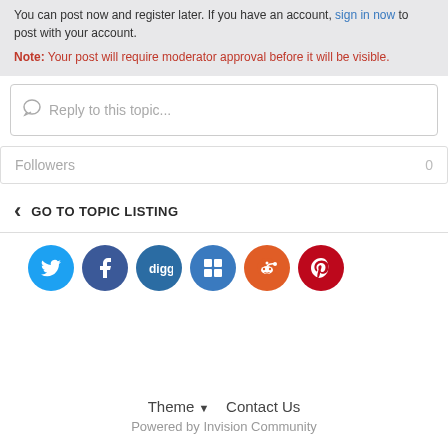You can post now and register later. If you have an account, sign in now to post with your account.
Note: Your post will require moderator approval before it will be visible.
Reply to this topic...
Followers    0
< GO TO TOPIC LISTING
[Figure (infographic): Row of 6 social media icon circles: Twitter (light blue), Facebook (dark blue), Digg (dark blue-grey), Delicious/Sharethis (medium blue), Reddit (orange-red), Pinterest (dark red)]
Theme ▼   Contact Us
Powered by Invision Community